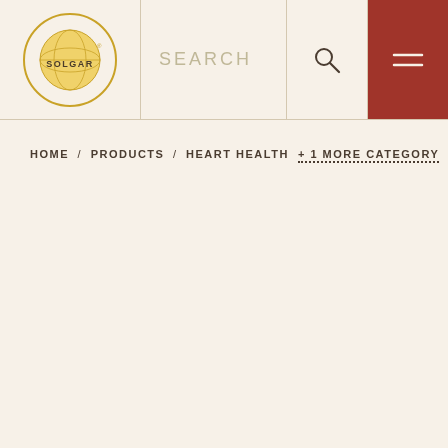[Figure (logo): Solgar brand logo — gold circular emblem with globe design and SOLGAR text]
SEARCH
[Figure (other): Search icon (magnifying glass)]
[Figure (other): Hamburger menu icon (two horizontal lines) on dark red background]
HOME / PRODUCTS / HEART HEALTH  + 1 MORE CATEGORY